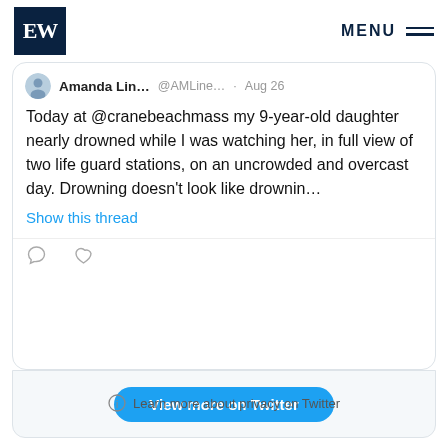EW | MENU
Amanda Lin... @AMLine... · Aug 26
Today at @cranebeachmass my 9-year-old daughter nearly drowned while I was watching her, in full view of two life guard stations, on an uncrowded and overcast day. Drowning doesn't look like drownin…
Show this thread
View more on Twitter
Learn more about privacy on Twitter